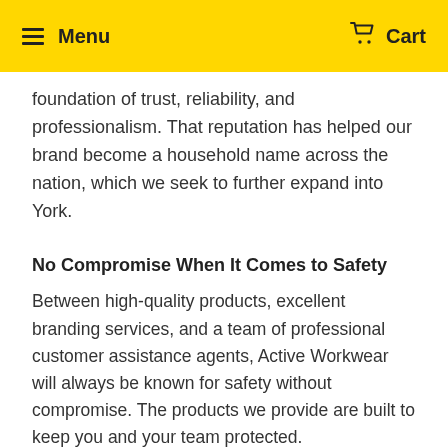Menu   Cart
foundation of trust, reliability, and professionalism. That reputation has helped our brand become a household name across the nation, which we seek to further expand into York.
No Compromise When It Comes to Safety
Between high-quality products, excellent branding services, and a team of professional customer assistance agents, Active Workwear will always be known for safety without compromise. The products we provide are built to keep you and your team protected.
Trusted Worldwide